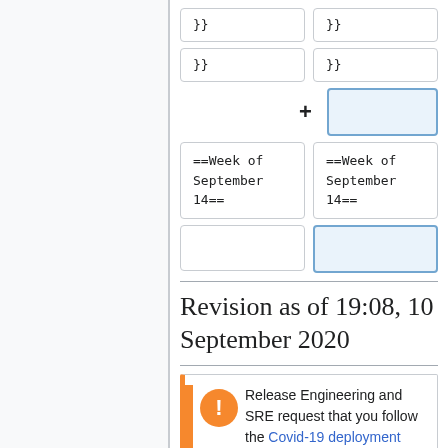}}
}}
}}
}}
+
==Week of September 14==
==Week of September 14==
Revision as of 19:08, 10 September 2020
Release Engineering and SRE request that you follow the Covid-19 deployment